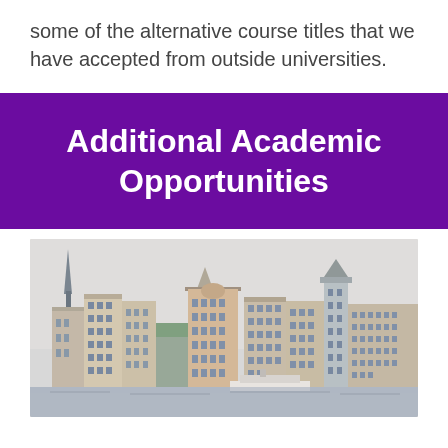some of the alternative course titles that we have accepted from outside universities.
Additional Academic Opportunities
[Figure (photo): A photograph of a European city waterfront skyline, showing rows of historic multi-story buildings with a church spire on the left and a tower on the right, under an overcast sky.]